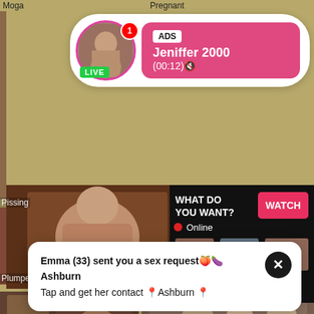Moga	Pregnant
[Figure (screenshot): Ad overlay card with circular avatar photo of a woman, pink border, LIVE badge, notification badge showing 1, and pink speech bubble with ADS label, name Jeniffer 2000, time (00:12)]
ADS
Jeniffer 2000
(00:12)🔇
LIVE
[Figure (screenshot): Large pornographic video thumbnail - woman performing oral sex]
Pissing
[Figure (screenshot): Small thumbnail with woman in christmas hat]
Plumpe
[Figure (screenshot): Ad panel with dark background. Text: WHAT DO YOU WANT? with WATCH button in pink/red, Online indicator with red dot, three small pornographic thumbnails, text: Cumming, ass fucking, squirt or... • ADS]
WHAT DO YOU WANT?
WATCH
● Online
Cumming, ass fucking, squirt or...
• ADS
[Figure (screenshot): Bottom left thumbnail showing bondage scene]
[Figure (screenshot): Bottom right thumbnail showing group scene with multiple people]
[Figure (screenshot): White popup notification box with close button (X) saying: Emma (33) sent you a sex request Ashburn - Tap and get her contact in Ashburn]
Emma (33) sent you a sex request🍑🍆 Ashburn
Tap and get her contact 📍Ashburn 📍